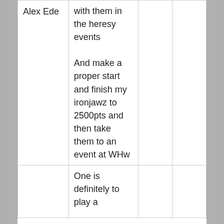| Alex Ede | with them in the heresy events

And make a proper start and finish my ironjawz to 2500pts and then take them to an event at WHw |  |  |
|  | One is definitely to play a |  |  |